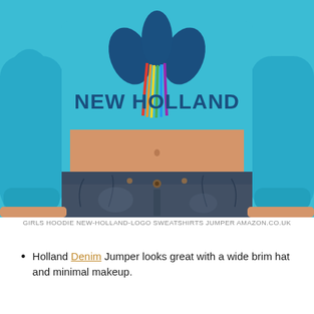[Figure (photo): Product photo of a woman wearing a turquoise/cyan cropped hoodie sweatshirt with New Holland logo (blue leaves and rainbow ribbons graphic) on the chest, paired with dark denim jeans. Only the torso and hands are visible.]
GIRLS HOODIE NEW-HOLLAND-LOGO SWEATSHIRTS JUMPER AMAZON.CO.UK
Holland Denim Jumper looks great with a wide brim hat and minimal makeup.